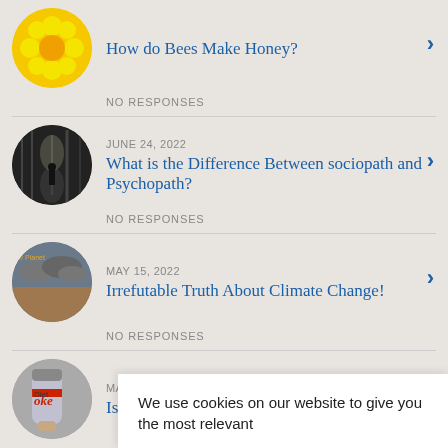How do Bees Make Honey?
NO RESPONSES
JUNE 24, 2022
What is the Difference Between sociopath and Psychopath?
NO RESPONSES
MAY 15, 2022
Irrefutable Truth About Climate Change!
NO RESPONSES
MAY 8, 2022
Is Diet
NO RESP
We use cookies on our website to give you the most relevant